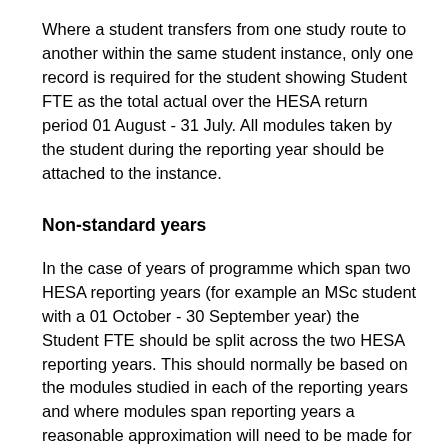Where a student transfers from one study route to another within the same student instance, only one record is required for the student showing Student FTE as the total actual over the HESA return period 01 August - 31 July. All modules taken by the student during the reporting year should be attached to the instance.
Non-standard years
In the case of years of programme which span two HESA reporting years (for example an MSc student with a 01 October - 30 September year) the Student FTE should be split across the two HESA reporting years. This should normally be based on the modules studied in each of the reporting years and where modules span reporting years a reasonable approximation will need to be made for the FTE contributed by those modules (for example the provider might report 85% of the FTE related to the period October - July and 15% to the